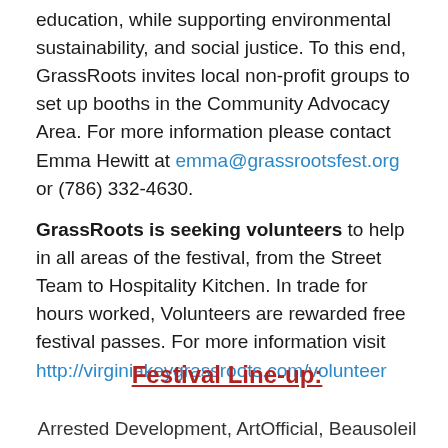education, while supporting environmental sustainability, and social justice. To this end, GrassRoots invites local non-profit groups to set up booths in the Community Advocacy Area. For more information please contact Emma Hewitt at emma@grassrootsfest.org or (786) 332-4630.
GrassRoots is seeking volunteers to help in all areas of the festival, from the Street Team to Hospitality Kitchen. In trade for hours worked, Volunteers are rewarded free festival passes. For more information visit http://virginiakeygrassroots.com/volunteer
Festival Line-up:
Arrested Development, ArtOfficial, Beausoleil Avec